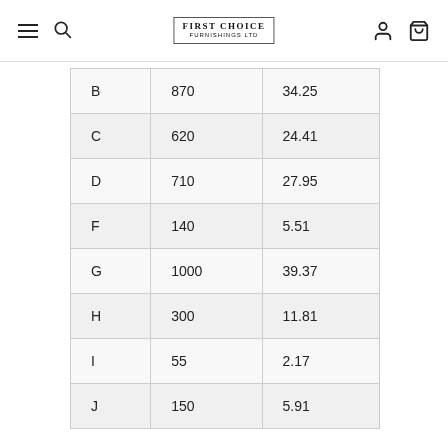First Choice Furnishings Ltd
| B | 870 | 34.25 |
| C | 620 | 24.41 |
| D | 710 | 27.95 |
| F | 140 | 5.51 |
| G | 1000 | 39.37 |
| H | 300 | 11.81 |
| I | 55 | 2.17 |
| J | 150 | 5.91 |